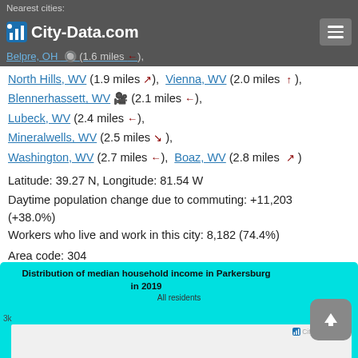Nearest cities:
City-Data.com
Belpre, OH (1.6 miles ←),
North Hills, WV (1.9 miles ↗), Vienna, WV (2.0 miles ↑),
Blennerhassett, WV (2.1 miles ←),
Lubeck, WV (2.4 miles ←),
Mineralwells, WV (2.5 miles ↘),
Washington, WV (2.7 miles ←), Boaz, WV (2.8 miles ↗)
Latitude: 39.27 N, Longitude: 81.54 W
Daytime population change due to commuting: +11,203 (+38.0%)
Workers who live and work in this city: 8,182 (74.4%)
Area code: 304
[Figure (histogram): Histogram showing distribution of median household income in Parkersburg in 2019, All residents. Partially visible, y-axis shows 3k.]